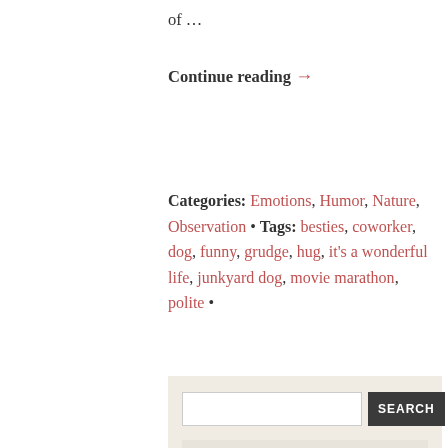of …
Continue reading →
Categories: Emotions, Humor, Nature, Observation • Tags: besties, coworker, dog, funny, grudge, hug, it's a wonderful life, junkyard dog, movie marathon, polite •
[Figure (other): Search widget with text input and SEARCH button on a beige background]
[Figure (other): Book widget section with beige background containing 'My first book!' heading]